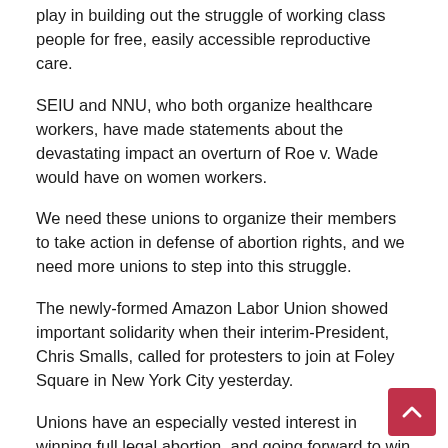play in building out the struggle of working class people for free, easily accessible reproductive care.
SEIU and NNU, who both organize healthcare workers, have made statements about the devastating impact an overturn of Roe v. Wade would have on women workers.
We need these unions to organize their members to take action in defense of abortion rights, and we need more unions to step into this struggle.
The newly-formed Amazon Labor Union showed important solidarity when their interim-President, Chris Smalls, called for protesters to join at Foley Square in New York City yesterday.
Unions have an especially vested interest in winning full legal abortion, and going forward to win Medicare for All with full reproductive and gender affirming care.